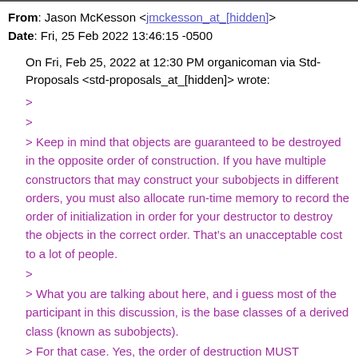From: Jason McKesson <jmckesson_at_[hidden]>
Date: Fri, 25 Feb 2022 13:46:15 -0500
On Fri, Feb 25, 2022 at 12:30 PM organicoman via Std-Proposals <std-proposals_at_[hidden]> wrote:
>
>
> Keep in mind that objects are guaranteed to be destroyed in the opposite order of construction. If you have multiple constructors that may construct your subobjects in different orders, you must also allocate run-time memory to record the order of initialization in order for your destructor to destroy the objects in the correct order. That's an unacceptable cost to a lot of people.
>
> What you are talking about here, and i guess most of the participant in this discussion, is the base classes of a derived class (known as subobjects).
> For that case. Yes, the order of destruction MUST